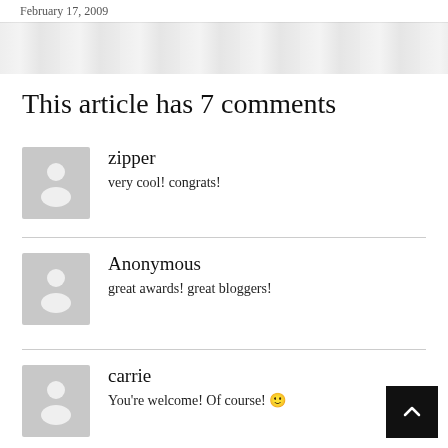February 17, 2009
This article has 7 comments
zipper
very cool! congrats!
Anonymous
great awards! great bloggers!
carrie
You're welcome! Of course! 🙂